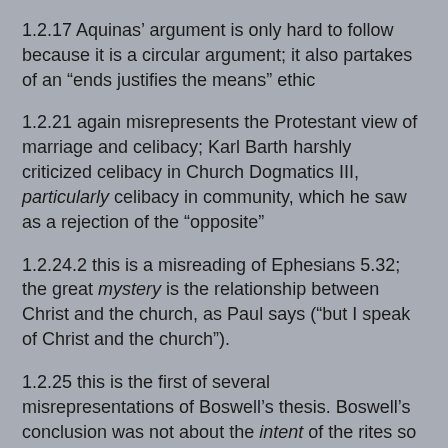1.2.17 Aquinas' argument is only hard to follow because it is a circular argument; it also partakes of an “ends justifies the means” ethic
1.2.21 again misrepresents the Protestant view of marriage and celibacy; Karl Barth harshly criticized celibacy in Church Dogmatics III, particularly celibacy in community, which he saw as a rejection of the “opposite”
1.2.24.2 this is a misreading of Ephesians 5.32; the great mystery is the relationship between Christ and the church, as Paul says (“but I speak of Christ and the church”).
1.2.25 this is the first of several misrepresentations of Boswell’s thesis. Boswell’s conclusion was not about the intent of the rites so much as how they were used. That variant sexual relationships have been tolerated (if not affirmed) at various times in Church history is obvious. That the rites Boswell describes were used for same-sex blessings is evident in that this is one of the main reasons given for their suppression. Note also an example of faulty